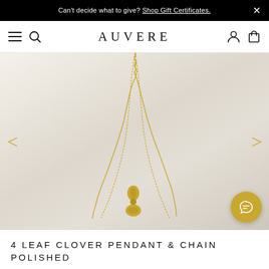Can't decide what to give? Shop Gift Certificates.
AUVERE
[Figure (photo): Gold 4 leaf clover pendant and chain necklace photographed on a marble/stone background. The delicate gold chain hangs from the top of the image and the four-leaf clover pendant sits at the bottom center. Navigation arrows (< >) appear on left and right sides. A gold circular chat button appears in the bottom right corner.]
4 LEAF CLOVER PENDANT & CHAIN POLISHED